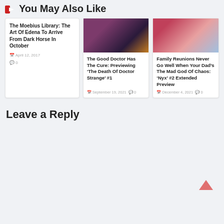You May Also Like
The Moebius Library: The Art Of Edena To Arrive From Dark Horse In October
April 12, 2017
0
[Figure (photo): Dark cosmic/fantasy illustration with purple and gold tones]
[Figure (photo): Illustrated figure in pink/red tones, anime-style character]
The Good Doctor Has The Cure: Previewing ‘The Death Of Doctor Strange’ #1
September 19, 2021
0
Family Reunions Never Go Well When Your Dad’s The Mad God Of Chaos: ‘Nyx’ #2 Extended Preview
December 4, 2021
0
Leave a Reply